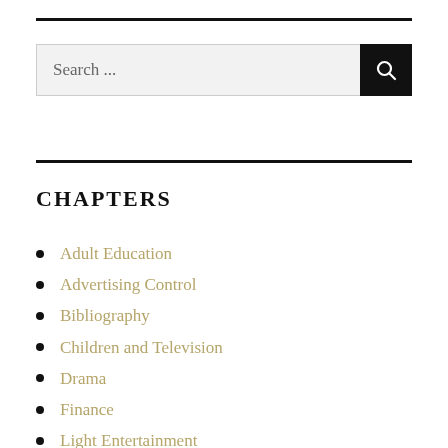[Figure (other): Search bar with text 'Search ...' and black search button with magnifying glass icon]
CHAPTERS
Adult Education
Advertising Control
Bibliography
Children and Television
Drama
Finance
Light Entertainment
News and News Magazines